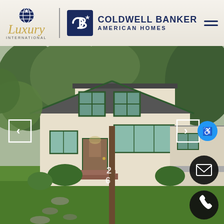[Figure (logo): Luxury International Coldwell Banker American Homes logo header with globe icon and hamburger menu]
[Figure (photo): Exterior photo of a two-story Cape Cod style house with cream siding, green trim, brick front porch steps, and lush green lawn with stone walkway. Navigation arrows on left and right, accessibility, email, and phone contact buttons overlaid.]